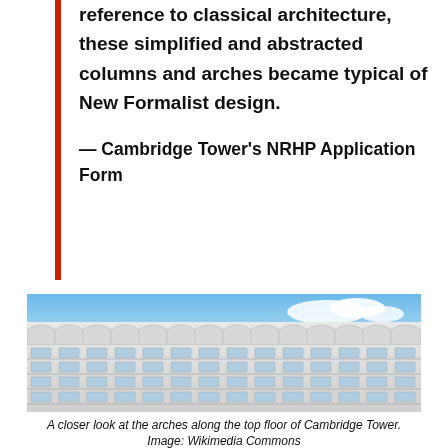reference to classical architecture, these simplified and abstracted columns and arches became typical of New Formalist design.
— Cambridge Tower's NRHP Application Form
[Figure (photo): A closer look at the top floor of Cambridge Tower showing repeating white arched facade elements against a blue sky.]
A closer look at the arches along the top floor of Cambridge Tower. Image: Wikimedia Commons